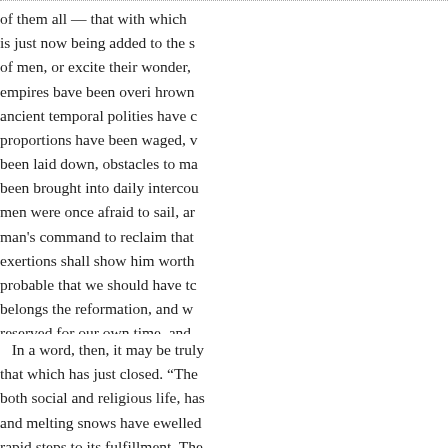of them all — that with which is just now being added to the s of men, or excite their wonder, empires bave been overi hrown ancient temporal polities have c proportions have been waged, v been laid down, obstacles to ma been brought into daily intercou men were once afraid to sail, ar man's command to reclaim that exertions shall show him worth probable that we should have tc belongs the reformation, and w reserved for our own time, and next age. The writer in Harper strangely
In a word, then, it may be truly that which has just closed. "The both social and religious life, has and melting snows have ewelled rapid steps to its fulfillment. The shaken as if with volcanic throe